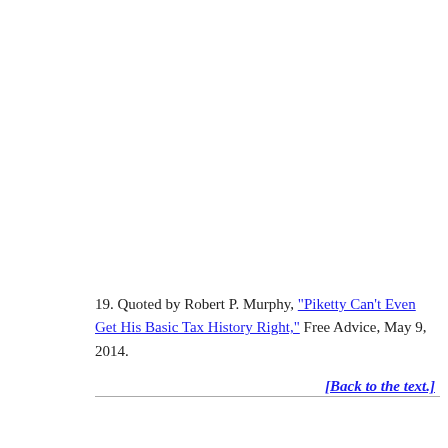19. Quoted by Robert P. Murphy, "Piketty Can't Even Get His Basic Tax History Right," Free Advice, May 9, 2014.
[Back to the text.]